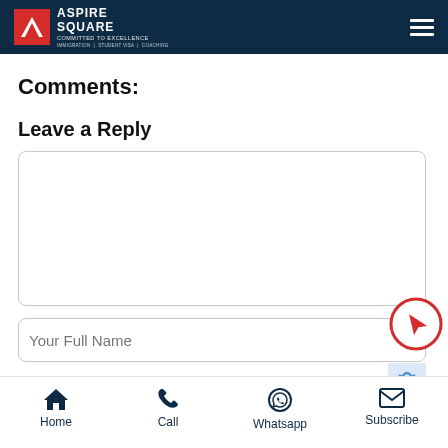[Figure (logo): Aspire Square logo with red triangle icon on dark navy header, hamburger menu icon on right]
Comments:
Leave a Reply
[Figure (screenshot): Empty comment textarea input box with rounded border]
[Figure (screenshot): Your Full Name input field with red airplane icon circle button and partial reCAPTCHA]
Home  Call  Whatsapp  Subscribe